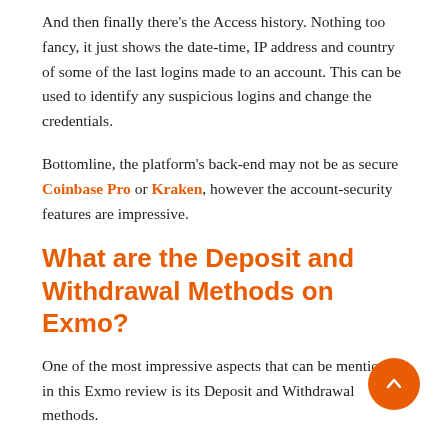And then finally there's the Access history. Nothing too fancy, it just shows the date-time, IP address and country of some of the last logins made to an account. This can be used to identify any suspicious logins and change the credentials.
Bottomline, the platform's back-end may not be as secure Coinbase Pro or Kraken, however the account-security features are impressive.
What are the Deposit and Withdrawal Methods on Exmo?
One of the most impressive aspects that can be mentioned in this Exmo review is its Deposit and Withdrawal methods.
The company supports both Crypto, as well as Fiat deposits/withdrawals.  It supports the following Fiat currencies for
USD, EUR, RUB, PLN, TRY, And UAH.